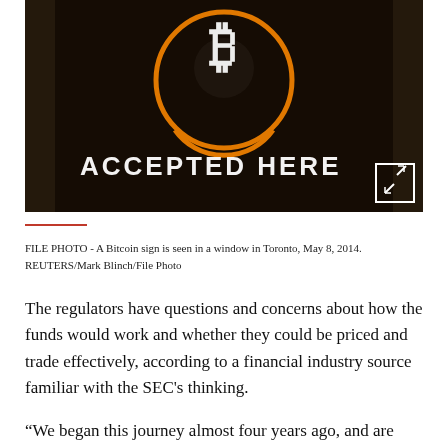[Figure (photo): A Bitcoin neon sign in a window displaying the Bitcoin 'B' symbol with orange circles and the text 'ACCEPTED HERE' in white neon lettering on a dark background. A white expand/fullscreen icon box is visible in the lower-right corner of the image.]
FILE PHOTO - A Bitcoin sign is seen in a window in Toronto, May 8, 2014. REUTERS/Mark Blinch/File Photo
The regulators have questions and concerns about how the funds would work and whether they could be priced and trade effectively, according to a financial industry source familiar with the SEC's thinking.
“We began this journey almost four years ago, and are